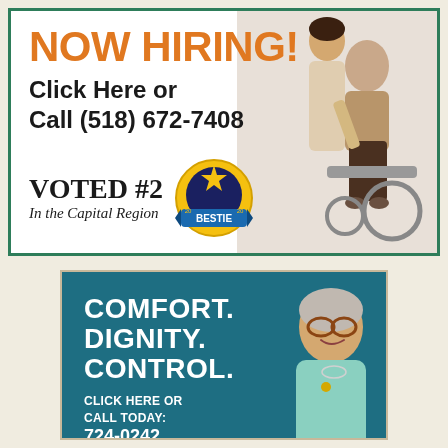[Figure (illustration): Top advertisement for home care hiring. Shows a caregiver with an elderly person in a wheelchair. Text: NOW HIRING! Click Here or Call (518) 672-7408. VOTED #2 In the Capital Region. 201 Main Street, Philmont, NY. Bestie badge logo.]
[Figure (illustration): Bottom advertisement for care services. Shows an elderly woman smiling. Text: COMFORT. DIGNITY. CONTROL. CLICK HERE OR CALL TODAY: 724-0242]